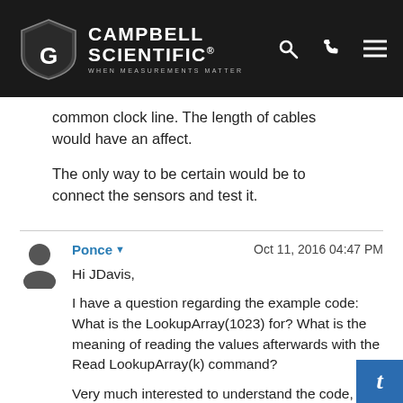Campbell Scientific — WHEN MEASUREMENTS MATTER
common clock line. The length of cables would have an affect.
The only way to be certain would be to connect the sensors and test it.
Ponce  Oct 11, 2016 04:47 PM
Hi JDavis,
I have a question regarding the example code: What is the LookupArray(1023) for? What is the meaning of reading the values afterwards with the Read LookupArray(k) command?
Very much interested to understand the code,